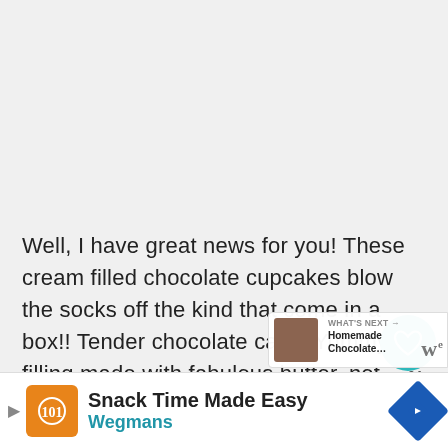Well, I have great news for you! These cream filled chocolate cupcakes blow the socks off the kind that come in a box!! Tender chocolate cake. Yummy filling made with fabulous butter, not tasteless shortening.
And all topped off with creamy chocolate frosting that is good enough to eat by the spoonful. Al...
[Figure (screenshot): Ad banner at bottom: Wegmans 'Snack Time Made Easy' advertisement with orange logo and navigation icon. 'What's Next' overlay showing Homemade Chocolate recipe thumbnail.]